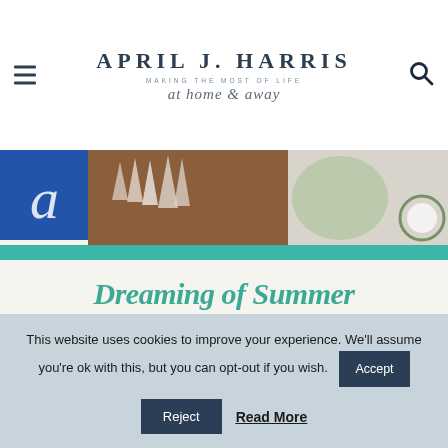APRIL J. HARRIS — MAKING THE MOST OF LIFE at home & away
[Figure (photo): Banner strip showing food/summer themed images including wooden board, green leaf decorations, and a sliced food item on a plate]
Dreaming of Summer at The Hearth & Soul Link Party
This website uses cookies to improve your experience. We'll assume you're ok with this, but you can opt-out if you wish.
Reject | Read More | Accept